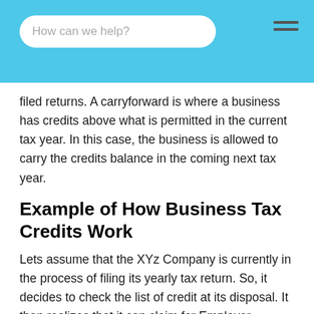How can we help?
filed returns. A carryforward is where a business has credits above what is permitted in the current tax year. In this case, the business is allowed to carry the credits balance in the coming next tax year.
Example of How Business Tax Credits Work
Lets assume that the XYz Company is currently in the process of filing its yearly tax return. So, it decides to check the list of credit at its disposal. It then realizes that it can claim for Employer-Provided Childcare Facilities and Services because it has childcare on the site. So, it uses Form 88882 to list the credit. However, the money it is claiming may happen to exceed the amount allowed this year because it is the first year for them to provide the